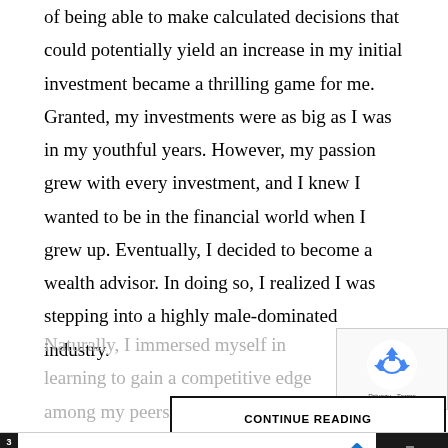of being able to make calculated decisions that could potentially yield an increase in my initial investment became a thrilling game for me. Granted, my investments were as big as I was in my youthful years. However, my passion grew with every investment, and I knew I wanted to be in the financial world when I grew up. Eventually, I decided to become a wealth advisor. In doing so, I realized I was stepping into a highly male-dominated industry.
Naturally, I immersed myself in learning to gain a competitive edge among my peers and colleagues.
[Figure (other): reCAPTCHA widget showing recycling arrows logo with Privacy and Terms links]
CONTINUE READING
[Figure (other): Advertisement bar: Shop Pain Relief at Walgreens / Walgreens Photo, with Walgreens logo and navigation icon. Dark sections on left and right.]